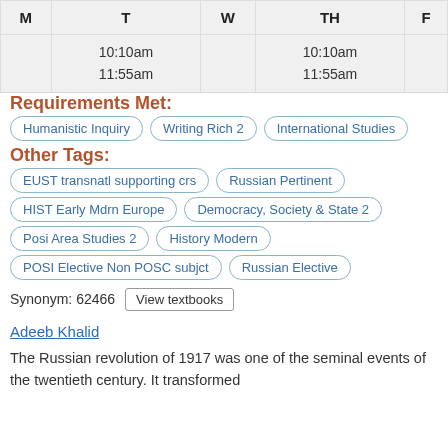| M | T | W | TH | F |
| --- | --- | --- | --- | --- |
|  | 10:10am
11:55am |  | 10:10am
11:55am |  |
Requirements Met:
Humanistic Inquiry
Writing Rich 2
International Studies
Other Tags:
EUST transnatl supporting crs
Russian Pertinent
HIST Early Mdrn Europe
Democracy, Society & State 2
Posi Area Studies 2
History Modern
POSI Elective Non POSC subjct
Russian Elective
Synonym: 62466  View textbooks
Adeeb Khalid
The Russian revolution of 1917 was one of the seminal events of the twentieth century. It transformed